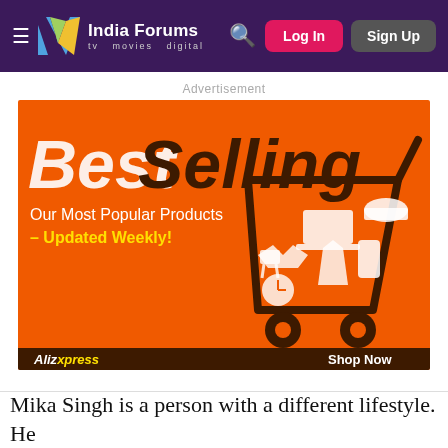[Figure (screenshot): India Forums website navigation bar with logo, search icon, Log In and Sign Up buttons on dark purple background]
Advertisement
[Figure (infographic): AliExpress Best Selling advertisement banner on orange background showing a shopping cart filled with products including laptop, phone, clothes, cap, and other items. Text: Best Selling, Our Most Popular Products – Updated Weekly!, AliExpress, Shop Now]
Mika Singh is a person with a different lifestyle. He